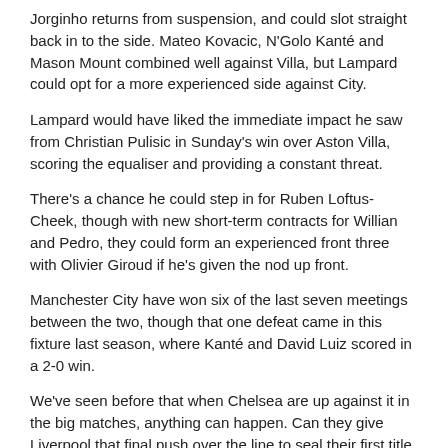Jorginho returns from suspension, and could slot straight back in to the side. Mateo Kovacic, N'Golo Kanté and Mason Mount combined well against Villa, but Lampard could opt for a more experienced side against City.
Lampard would have liked the immediate impact he saw from Christian Pulisic in Sunday's win over Aston Villa, scoring the equaliser and providing a constant threat.
There's a chance he could step in for Ruben Loftus-Cheek, though with new short-term contracts for Willian and Pedro, they could form an experienced front three with Olivier Giroud if he's given the nod up front.
Manchester City have won six of the last seven meetings between the two, though that one defeat came in this fixture last season, where Kanté and David Luiz scored in a 2-0 win.
We've seen before that when Chelsea are up against it in the big matches, anything can happen. Can they give Liverpool that final push over the line to seal their first title in 30 years, or will City take the title race to the Etihad?
View the latest Premier League odds.
All odds and markets are correct as of date of publication.